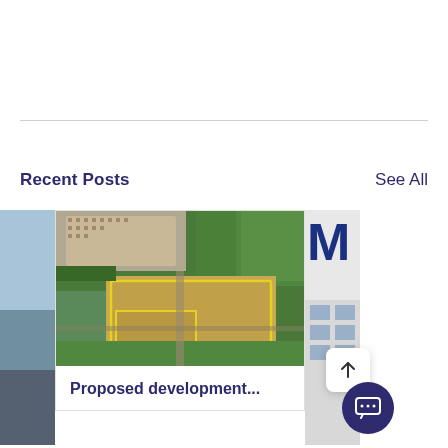Recent Posts
See All
[Figure (photo): Aerial photograph of a proposed development site showing agricultural fields with yellow boundary markings adjacent to a residential area and green farmland.]
Proposed development...